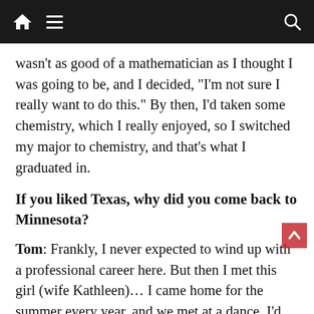Navigation bar with home, menu, and search icons
wasn’t as good of a mathematician as I thought I was going to be, and I decided, “I’m not sure I really want to do this.” By then, I’d taken some chemistry, which I really enjoyed, so I switched my major to chemistry, and that’s what I graduated in.
If you liked Texas, why did you come back to Minnesota?
Tom: Frankly, I never expected to wind up with a professional career here. But then I met this girl (wife Kathleen)… I came home for the summer every year, and we met at a dance. I’d gone to high school with her, but I was three years ahead of her